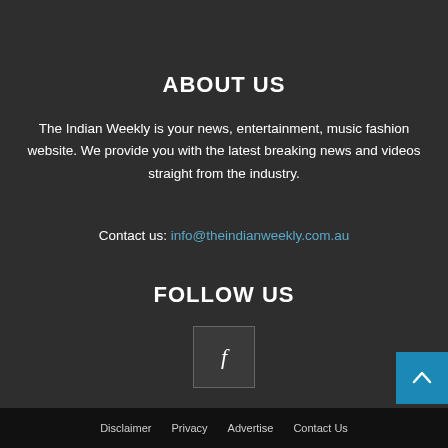ABOUT US
The Indian Weekly is your news, entertainment, music fashion website. We provide you with the latest breaking news and videos straight from the industry.
Contact us: info@theindianweekly.com.au
FOLLOW US
[Figure (other): Facebook icon square button with letter f]
[Figure (other): Scroll to top button with upward caret arrow, teal/blue background]
Disclaimer  Privacy  Advertise  Contact Us